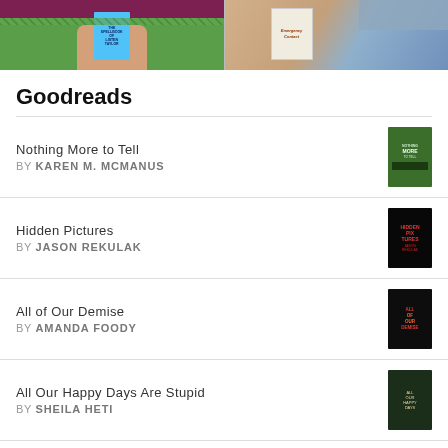[Figure (photo): Two photos side by side: left shows hands holding a light blue book on a green grass background with a dark red top; right shows a tattooed arm holding a book titled Emergency Contact]
Goodreads
Nothing More to Tell BY KAREN M. MCMANUS
Hidden Pictures BY JASON REKULAK
All of Our Demise BY AMANDA FOODY
All Our Happy Days Are Stupid BY SHEILA HETI